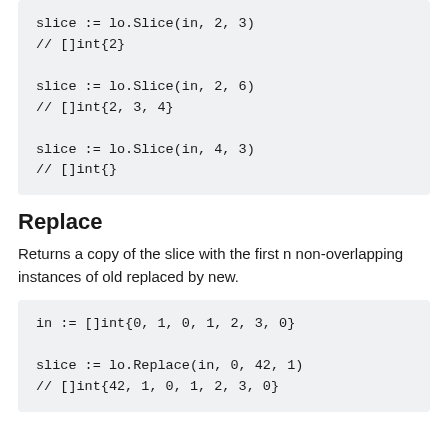slice := lo.Slice(in, 2, 3)
// []int{2}

slice := lo.Slice(in, 2, 6)
// []int{2, 3, 4}

slice := lo.Slice(in, 4, 3)
// []int{}
Replace
Returns a copy of the slice with the first n non-overlapping instances of old replaced by new.
in := []int{0, 1, 0, 1, 2, 3, 0}

slice := lo.Replace(in, 0, 42, 1)
// []int{42, 1, 0, 1, 2, 3, 0}